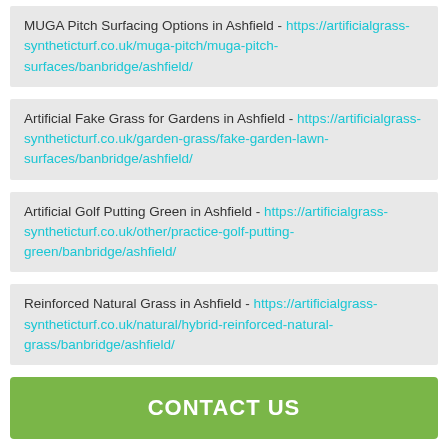MUGA Pitch Surfacing Options in Ashfield - https://artificialgrass-syntheticturf.co.uk/muga-pitch/muga-pitch-surfaces/banbridge/ashfield/
Artificial Fake Grass for Gardens in Ashfield - https://artificialgrass-syntheticturf.co.uk/garden-grass/fake-garden-lawn-surfaces/banbridge/ashfield/
Artificial Golf Putting Green in Ashfield - https://artificialgrass-syntheticturf.co.uk/other/practice-golf-putting-green/banbridge/ashfield/
Reinforced Natural Grass in Ashfield - https://artificialgrass-syntheticturf.co.uk/natural/hybrid-reinforced-natural-grass/banbridge/ashfield/
CONTACT US